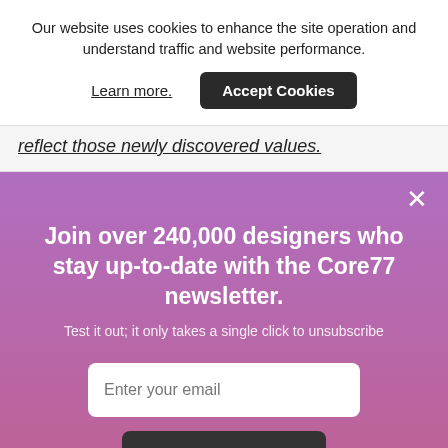Our website uses cookies to enhance the site operation and understand traffic and website performance.
Learn more.
Accept Cookies
reflect those newly discovered values.
Join over 240,000 designers who stay up-to-date with the Core77 newsletter.
Test it out; it only takes a single click to unsubscribe
Enter your email
Subscribe